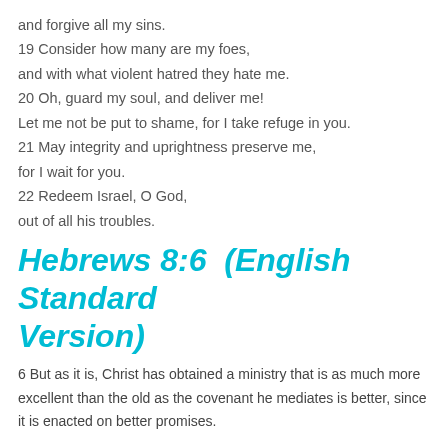and forgive all my sins.
19 Consider how many are my foes,
and with what violent hatred they hate me.
20 Oh, guard my soul, and deliver me!
Let me not be put to shame, for I take refuge in you.
21 May integrity and uprightness preserve me,
for I wait for you.
22 Redeem Israel, O God,
out of all his troubles.
Hebrews 8:6  (English Standard Version)
6 But as it is, Christ has obtained a ministry that is as much more excellent than the old as the covenant he mediates is better, since it is enacted on better promises.